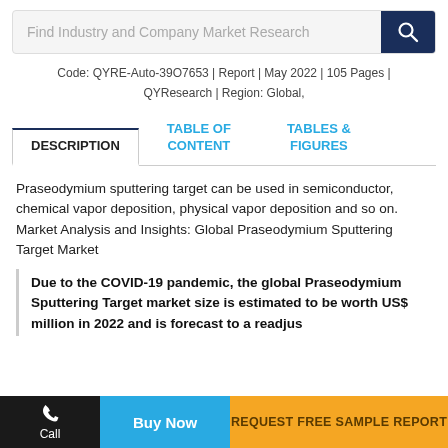Find Industry and Company Market Research
Code: QYRE-Auto-39O7653 | Report | May 2022 | 105 Pages | QYResearch | Region: Global,
DESCRIPTION | TABLE OF CONTENT | TABLES & FIGURES
Praseodymium sputtering target can be used in semiconductor, chemical vapor deposition, physical vapor deposition and so on.
Market Analysis and Insights: Global Praseodymium Sputtering Target Market
Due to the COVID-19 pandemic, the global Praseodymium Sputtering Target market size is estimated to be worth US$ million in 2022 and is forecast to a readjusted
Call | Buy Now | REQUEST FREE SAMPLE REPORT